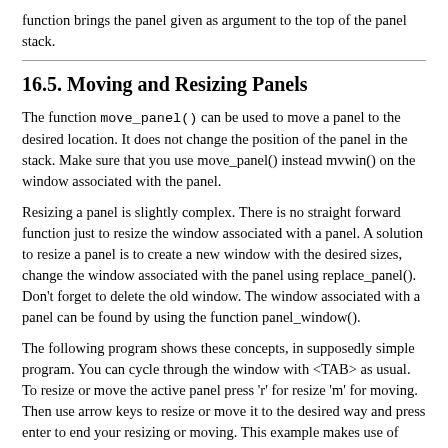function brings the panel given as argument to the top of the panel stack.
16.5. Moving and Resizing Panels
The function move_panel() can be used to move a panel to the desired location. It does not change the position of the panel in the stack. Make sure that you use move_panel() instead mvwin() on the window associated with the panel.
Resizing a panel is slightly complex. There is no straight forward function just to resize the window associated with a panel. A solution to resize a panel is to create a new window with the desired sizes, change the window associated with the panel using replace_panel(). Don't forget to delete the old window. The window associated with a panel can be found by using the function panel_window().
The following program shows these concepts, in supposedly simple program. You can cycle through the window with <TAB> as usual. To resize or move the active panel press 'r' for resize 'm' for moving. Then use arrow keys to resize or move it to the desired way and press enter to end your resizing or moving. This example makes use of user data to get the required data to do the operations